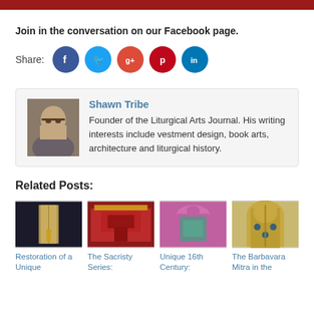[Figure (other): Red header bar at top of page]
Join in the conversation on our Facebook page.
[Figure (infographic): Social share buttons: Facebook, Twitter, Google+, Pinterest, LinkedIn]
[Figure (photo): Author photo of Shawn Tribe]
Shawn Tribe
Founder of the Liturgical Arts Journal. His writing interests include vestment design, book arts, architecture and liturgical history.
Related Posts:
[Figure (photo): Restoration of a Unique - liturgical vestment with gold embroidery]
[Figure (photo): The Sacristy Series - red altar with golden decorations]
[Figure (photo): Unique 16th Century - pink and teal vestment]
[Figure (photo): The Barbavara Mitra in the - ornate mitre]
Restoration of a Unique
The Sacristy Series:
Unique 16th Century:
The Barbavara Mitra in the